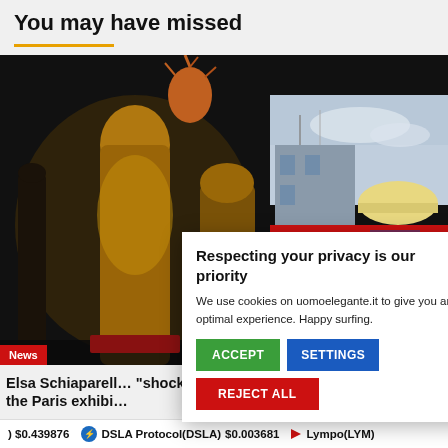You may have missed
[Figure (photo): Dark display of fashion mannequins with ornate golden and dark costumes, coral-like headpiece, in exhibition setting. News badge in bottom left corner.]
[Figure (photo): Building exterior with red facade, gray structure, and dome roof against cloudy sky.]
Respecting your privacy is our priority
We use cookies on uomoelegante.it to give you an optimal experience. Happy surfing.
ACCEPT
SETTINGS
REJECT ALL
Elsa Schiaparell… "shocking" desi… the Paris exhibi…
18 mins ago
$0.439876  DSLA Protocol(DSLA)  $0.003681  Lympo(LYM)